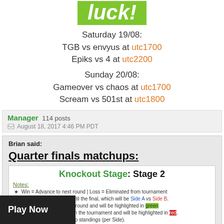[Figure (other): Green banner with italic bold white text 'luck!']
Saturday 19/08:
TGB vs envyus at utc1700
Epiks vs 4 at utc2200
Sunday 20/08:
Gameover vs chaos at utc1700
Scream vs 501st at utc1800
Manager  114 posts
August 18, 2017 4:46 PM PDT
Brian said:
Quarter finals matchups:
Knockout Stage: Stage 2
Notes:
★  Win = Advance to next round | Loss = Eliminated from tournament
...will be divided by Side until the final, which will be Side A vs Side B.
...ams will advance to next round and will be highlighted in green
...ms will be eliminated from the tournament and will be highlighted in red
...were determined by group standings (per Side).